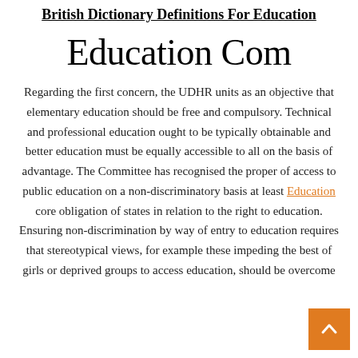British Dictionary Definitions For Education
Education Com
Regarding the first concern, the UDHR units as an objective that elementary education should be free and compulsory. Technical and professional education ought to be typically obtainable and better education must be equally accessible to all on the basis of advantage. The Committee has recognised the proper of access to public education on a non-discriminatory basis at least Education core obligation of states in relation to the right to education. Ensuring non-discrimination by way of entry to education requires that stereotypical views, for example these impeding the best of girls or deprived groups to access education, should be overcome